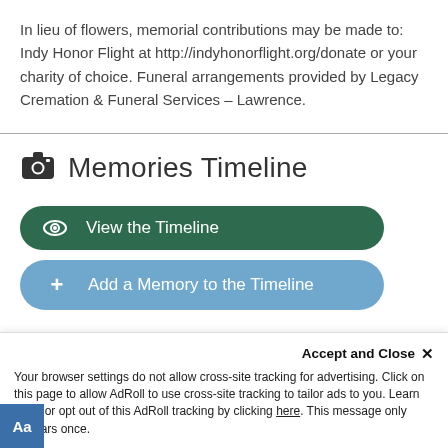In lieu of flowers, memorial contributions may be made to: Indy Honor Flight at http://indyhonorflight.org/donate or your charity of choice. Funeral arrangements provided by Legacy Cremation & Funeral Services – Lawrence.
Memories Timeline
[Figure (infographic): Two buttons: 'View the Timeline' (dark green with eye icon) and 'Add a Memory to the Timeline' (blue with plus icon)]
Guestbook
Accept and Close ✕
Your browser settings do not allow cross-site tracking for advertising. Click on this page to allow AdRoll to use cross-site tracking to tailor ads to you. Learn more or opt out of this AdRoll tracking by clicking here. This message only appears once.